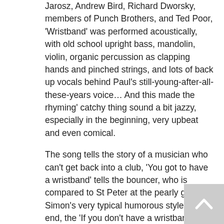Jarosz, Andrew Bird, Richard Dworsky, members of Punch Brothers, and Ted Poor, 'Wristband' was performed acoustically, with old school upright bass, mandolin, violin, organic percussion as clapping hands and pinched strings, and lots of back up vocals behind Paul's still-young-after-all-these-years voice… And this made the rhyming' catchy thing sound a bit jazzy, especially in the beginning, very upbeat and even comical.
The song tells the story of a musician who can't get back into a club, 'You got to have a wristband' tells the bouncer, who is compared to St Peter at the pearly gates in Simon's very typical humorous style. At the end, the 'If you don't have a wristband, you don't get through the door' tale transforms itself into some more serious commentary about privileges, in a very classic approach. May be this song is not going to be his masterpiece but it's cool to see Simon is still composing and having fun.
During the show, Simon also performed 'Gone At Last', 'Duncan'. 'Rewrite', 'The Boxer' and even 'Me and Julio Down by the Schoolyard' during an encore, however, he didn't say anything about the genesis of the song, or if it would be featured on a new album. Nevertheless, there are